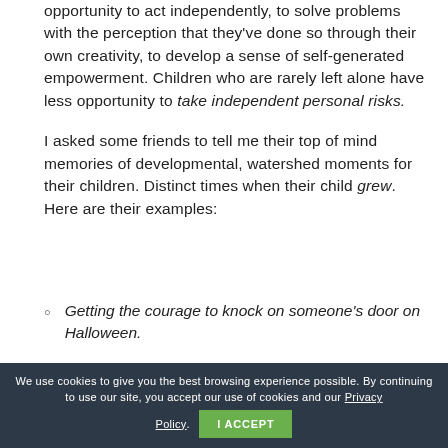opportunity to act independently, to solve problems with the perception that they've done so through their own creativity, to develop a sense of self-generated empowerment. Children who are rarely left alone have less opportunity to take independent personal risks.
I asked some friends to tell me their top of mind memories of developmental, watershed moments for their children. Distinct times when their child grew. Here are their examples:
Getting the courage to knock on someone's door on Halloween.
Walking into Pre-K on his own for the first time without
We use cookies to give you the best browsing experience possible. By continuing to use our site, you accept our use of cookies and our Privacy Policy. I ACCEPT